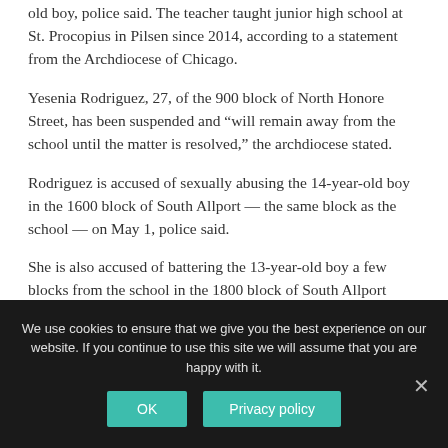old boy, police said. The teacher taught junior high school at St. Procopius in Pilsen since 2014, according to a statement from the Archdiocese of Chicago.
Yesenia Rodriguez, 27, of the 900 block of North Honore Street, has been suspended and “will remain away from the school until the matter is resolved,” the archdiocese stated.
Rodriguez is accused of sexually abusing the 14-year-old boy in the 1600 block of South Allport — the same block as the school — on May 1, police said.
She is also accused of battering the 13-year-old boy a few blocks from the school in the 1800 block of South Allport between Sept. 15 and Jan. 25, police said.
We use cookies to ensure that we give you the best experience on our website. If you continue to use this site we will assume that you are happy with it.